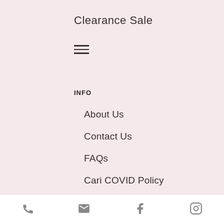Clearance Sale
[Figure (other): Hamburger menu icon (three horizontal lines)]
INFO
About Us
Contact Us
FAQs
Cari COVID Policy
Shipping & Delivery
Returns, Exchange, & Refund
Jewelry Care
Phone, Email, Facebook, Instagram icons